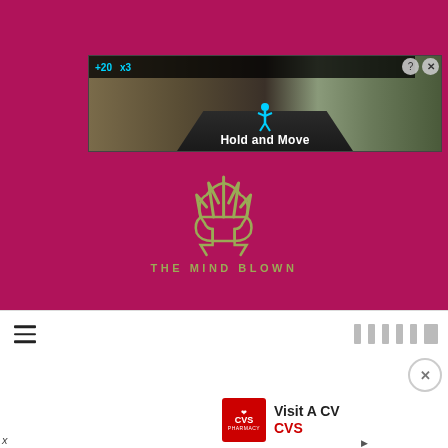[Figure (screenshot): Top section with crimson/magenta background. Contains an advertisement banner showing 'Hold and Move' game screenshot with road scene and blue/cyan score display. Below is 'The Mind Blown' logo - a stylized brain icon in olive/yellow-green color with text 'THE MIND BLOWN' underneath.]
[Figure (logo): The Mind Blown logo - decorative brain-like symbol in olive green on magenta background, with text 'THE MIND BLOWN' in spaced letters below]
[Figure (screenshot): Bottom white navigation bar with hamburger menu on left and social media icons on right. Below is a partial CVS advertisement showing Visit A CVS text with red CVS logo, with a close X button.]